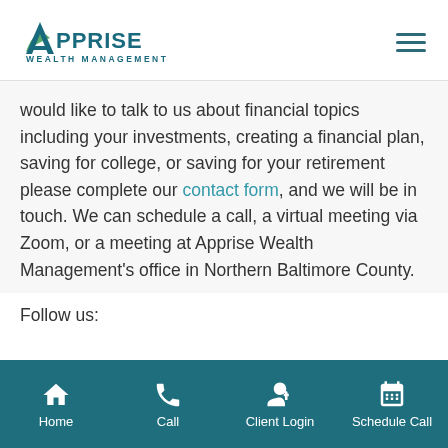[Figure (logo): Apprise Wealth Management logo with teal A icon and text]
would like to talk to us about financial topics including your investments, creating a financial plan, saving for college, or saving for your retirement please complete our contact form, and we will be in touch. We can schedule a call, a virtual meeting via Zoom, or a meeting at Apprise Wealth Management's office in Northern Baltimore County.
Follow us:
[Figure (infographic): Bottom navigation bar with Home, Call, Client Login, and Schedule Call icons on teal background]